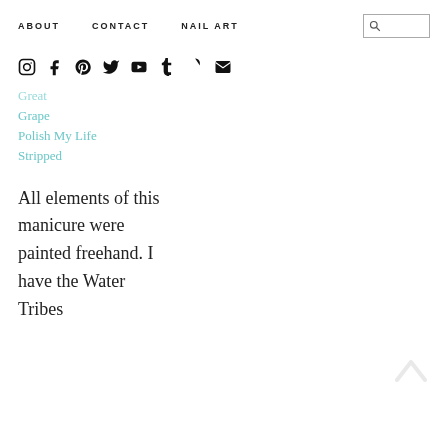ABOUT   CONTACT   NAIL ART
[Figure (infographic): Social media icons: Instagram, Facebook, Pinterest, Twitter, YouTube, Tumblr, Snapchat, Email]
Great
Grape
Polish My Life
Stripped
All elements of this manicure were painted freehand. I have the Water Tribes